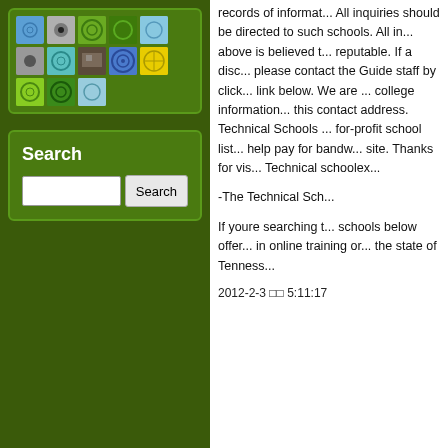[Figure (illustration): Grid of thumbnail images showing various mandala/spiral patterns in blue, green, teal, and gray colors, plus one photo thumbnail]
Search
Search [input field and button]
records of information. All inquiries should be directed to such schools. All information above is believed to be reputable. If a discrepancy exists, please contact the Guide staff by clicking the link below. We are not accepting college information requests at this contact address. Technical Schools - for-profit school listings help pay for bandwidth for this site. Thanks for visiting Technical schoolex...
-The Technical Sch...
If youre searching t... schools below offer... in online training or... the state of Tenness...
2012-2-3 □□ 5:11:17